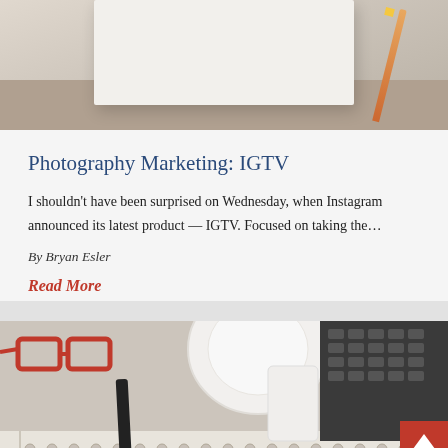[Figure (photo): Top portion of a photo showing a white notebook/sketchbook on a wooden desk surface with a pencil, beige/tan background]
Photography Marketing: IGTV
I shouldn’t have been surprised on Wednesday, when Instagram announced its latest product — IGTV. Focused on taking the…
By Bryan Esler
Read More
[Figure (photo): Partial photo showing red eyeglasses, a white coffee cup on a saucer, a dark phone/pen, a laptop keyboard, and a spiral notebook with markings along the bottom edge]